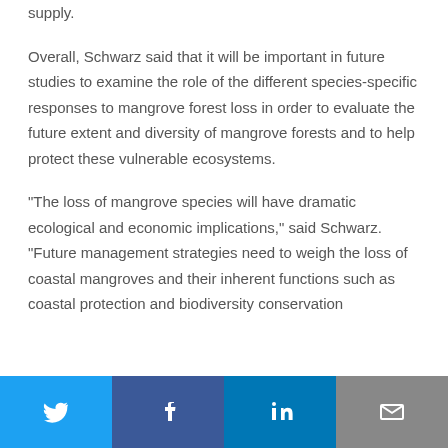supply.
Overall, Schwarz said that it will be important in future studies to examine the role of the different species-specific responses to mangrove forest loss in order to evaluate the future extent and diversity of mangrove forests and to help protect these vulnerable ecosystems.
“The loss of mangrove species will have dramatic ecological and economic implications,” said Schwarz. “Future management strategies need to weigh the loss of coastal mangroves and their inherent functions such as coastal protection and biodiversity conservation
[Figure (infographic): Social sharing bar with Twitter, Facebook, LinkedIn, and email icons]